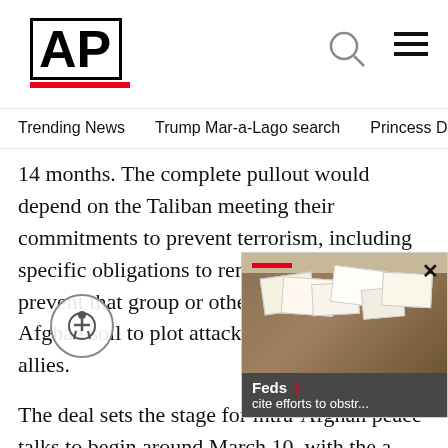AP
Trending News    Trump Mar-a-Lago search    Princess Diana's dea
14 months. The complete pullout would depend on the Taliban meeting their commitments to prevent terrorism, including specific obligations to renounce al-Qaida and prevent that group or others from using Afghan soil to plot attacks on the U.S. or its allies.
The deal sets the stage for intra-Afghan peace talks to begin around March 10, with the aim of a permanent cease-fire and a power-sharing deal between rival Afghan groups. It's perhaps the most complicated and difficult phase of the deal. It would, however, tie America's withdrawal to a successful outcome from the all Afghan talks, senior officials.
[Figure (photo): Photo overlay showing stacks of documents/papers with text 'Feds cite efforts to obstr...']